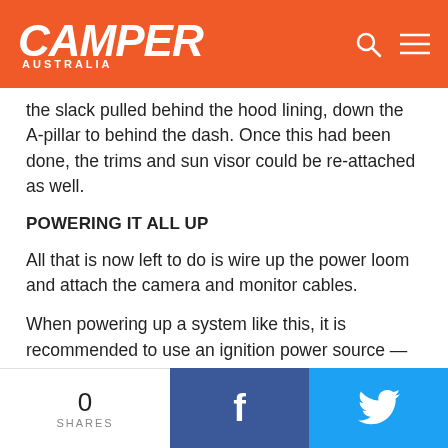CAMPER AUSTRALIA
the slack pulled behind the hood lining, down the A-pillar to behind the dash. Once this had been done, the trims and sun visor could be re-attached as well.
POWERING IT ALL UP
All that is now left to do is wire up the power loom and attach the camera and monitor cables.
When powering up a system like this, it is recommended to use an ignition power source — i.e., one which only provides power when the ignition, or at the very least accessories, is on. In most cases, you will go directly to the back of your cigarette lighter for accessory power.
Unfortunately, in my case, all of my cigarette sockets have
0 SHARES